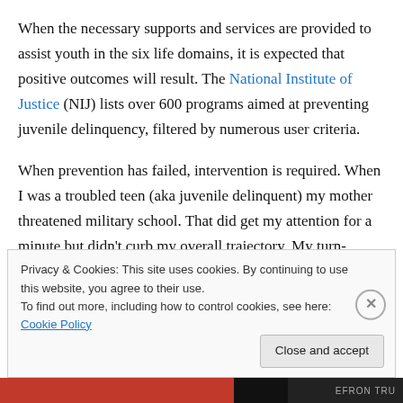When the necessary supports and services are provided to assist youth in the six life domains, it is expected that positive outcomes will result. The National Institute of Justice (NIJ) lists over 600 programs aimed at preventing juvenile delinquency, filtered by numerous user criteria.
When prevention has failed, intervention is required. When I was a troubled teen (aka juvenile delinquent) my mother threatened military school. That did get my attention for a minute but didn't curb my overall trajectory. My turn-around came through the Christian Drug Rehabilitation
Privacy & Cookies: This site uses cookies. By continuing to use this website, you agree to their use.
To find out more, including how to control cookies, see here: Cookie Policy